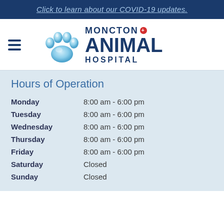Click to learn about our COVID-19 updates.
[Figure (logo): Moncton Animal Hospital logo with blue paw print and text]
Hours of Operation
| Day | Hours |
| --- | --- |
| Monday | 8:00 am - 6:00 pm |
| Tuesday | 8:00 am - 6:00 pm |
| Wednesday | 8:00 am - 6:00 pm |
| Thursday | 8:00 am - 6:00 pm |
| Friday | 8:00 am - 6:00 pm |
| Saturday | Closed |
| Sunday | Closed |